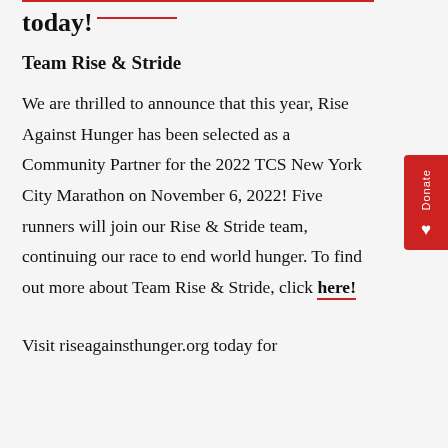today!
Team Rise & Stride
We are thrilled to announce that this year, Rise Against Hunger has been selected as a Community Partner for the 2022 TCS New York City Marathon on November 6, 2022! Five runners will join our Rise & Stride team, continuing our race to end world hunger. To find out more about Team Rise & Stride, click here!
Visit riseagainsthunger.org today for